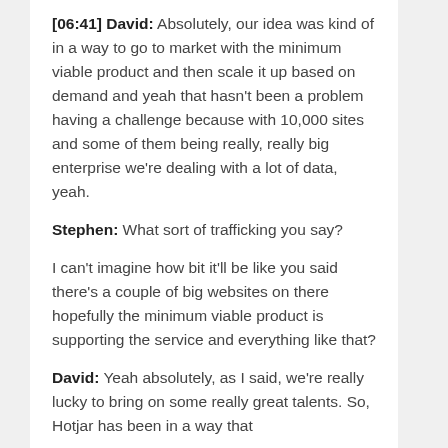[06:41] David: Absolutely, our idea was kind of in a way to go to market with the minimum viable product and then scale it up based on demand and yeah that hasn't been a problem having a challenge because with 10,000 sites and some of them being really, really big enterprise we're dealing with a lot of data, yeah.
Stephen: What sort of trafficking you say?
I can't imagine how bit it'll be like you said there's a couple of big websites on there hopefully the minimum viable product is supporting the service and everything like that?
David: Yeah absolutely, as I said, we're really lucky to bring on some really great talents. So, Hotjar has been in a way that